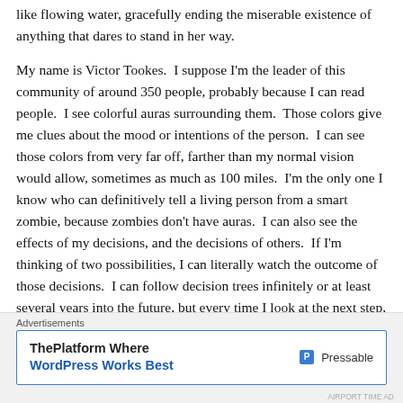like flowing water, gracefully ending the miserable existence of anything that dares to stand in her way.
My name is Victor Tookes.  I suppose I'm the leader of this community of around 350 people, probably because I can read people.  I see colorful auras surrounding them.  Those colors give me clues about the mood or intentions of the person.  I can see those colors from very far off, farther than my normal vision would allow, sometimes as much as 100 miles.  I'm the only one I know who can definitively tell a living person from a smart zombie, because zombies don't have auras.  I can also see the effects of my decisions, and the decisions of others.  If I'm thinking of two possibilities, I can literally watch the outcome of those decisions.  I can follow decision trees infinitely or at least several years into the future, but every time I look at the next step, the number of possibilities is exponentially more
Advertisements
[Figure (other): Advertisement banner for Pressable: 'ThePlatform Where WordPress Works Best' with Pressable logo on the right]